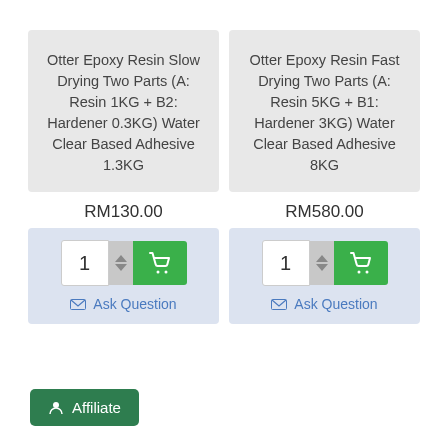Otter Epoxy Resin Slow Drying Two Parts (A: Resin 1KG + B2: Hardener 0.3KG) Water Clear Based Adhesive 1.3KG
RM130.00
Ask Question
Otter Epoxy Resin Fast Drying Two Parts (A: Resin 5KG + B1: Hardener 3KG) Water Clear Based Adhesive 8KG
RM580.00
Ask Question
Affiliate